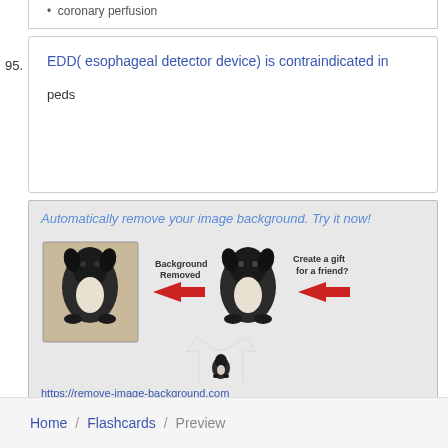coronary perfusion
95. EDD( esophageal detector device) is contraindicated in

peds
[Figure (illustration): Advertisement banner: 'Automatically remove your image background. Try it now!' showing a dog photo being processed to remove background, then placed on a t-shirt. URL: https://remove-image-background.com]
Home / Flashcards / Preview